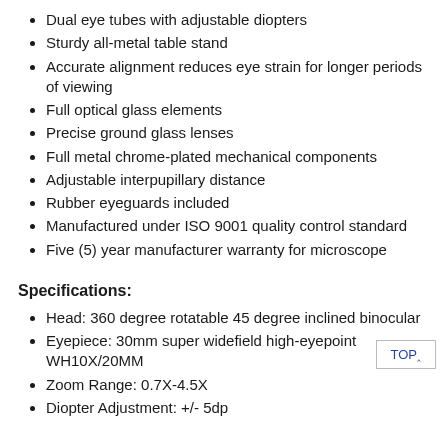Dual eye tubes with adjustable diopters
Sturdy all-metal table stand
Accurate alignment reduces eye strain for longer periods of viewing
Full optical glass elements
Precise ground glass lenses
Full metal chrome-plated mechanical components
Adjustable interpupillary distance
Rubber eyeguards included
Manufactured under ISO 9001 quality control standard
Five (5) year manufacturer warranty for microscope
Specifications:
Head: 360 degree rotatable 45 degree inclined binocular
Eyepiece: 30mm super widefield high-eyepoint WH10X/20MM
Zoom Range: 0.7X-4.5X
Diopter Adjustment: +/- 5dp